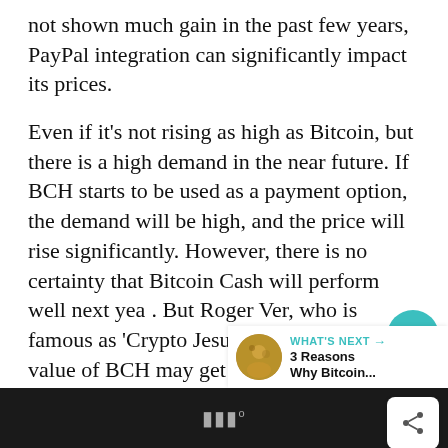not shown much gain in the past few years, PayPal integration can significantly impact its prices.
Even if it's not rising as high as Bitcoin, but there is a high demand in the near future. If BCH starts to be used as a payment option, the demand will be high, and the price will rise significantly. However, there is no certainty that Bitcoin Cash will perform well next year. But Roger Ver, who is famous as 'Crypto Jesus', predicts that the value of BCH may get doubled in 2021.